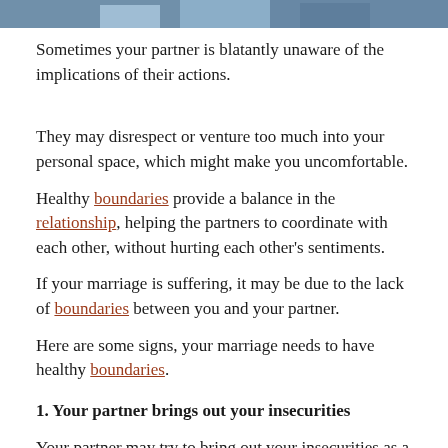[Figure (photo): Top strip of a photo showing people, partially cropped, blue/grey clothing visible]
Sometimes your partner is blatantly unaware of the implications of their actions.
They may disrespect or venture too much into your personal space, which might make you uncomfortable.
Healthy boundaries provide a balance in the relationship, helping the partners to coordinate with each other, without hurting each other's sentiments.
If your marriage is suffering, it may be due to the lack of boundaries between you and your partner.
Here are some signs, your marriage needs to have healthy boundaries.
1. Your partner brings out your insecurities
Your partner may try to bring out your insecurities as a weapon during fights, no matter how insensitive it is. This is a very wrong